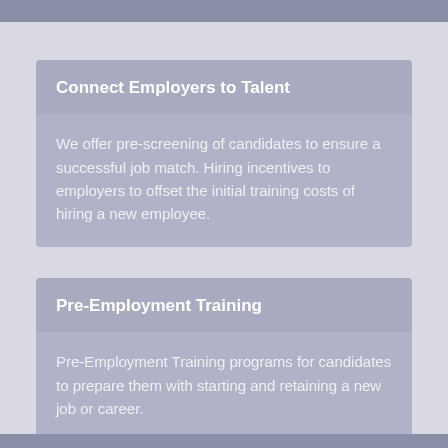Connect Employers to Talent
We offer pre-screening of candidates to ensure a successful job match. Hiring incentives to employers to offset the initial training costs of hiring a new employee.
Pre-Employment Training
Pre-Employment Training programs for candidates to prepare them with starting and retaining a new job or career.